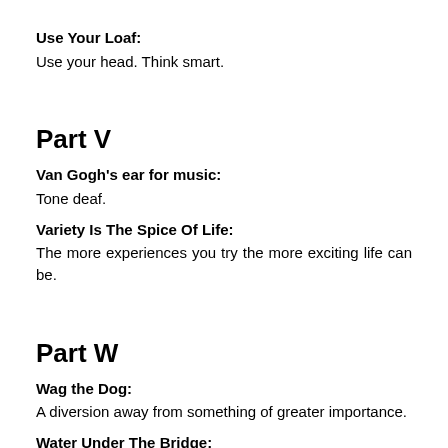Use Your Loaf:
Use your head. Think smart.
Part V
Van Gogh's ear for music:
Tone deaf.
Variety Is The Spice Of Life:
The more experiences you try the more exciting life can be.
Part W
Wag the Dog:
A diversion away from something of greater importance.
Water Under The Bridge: